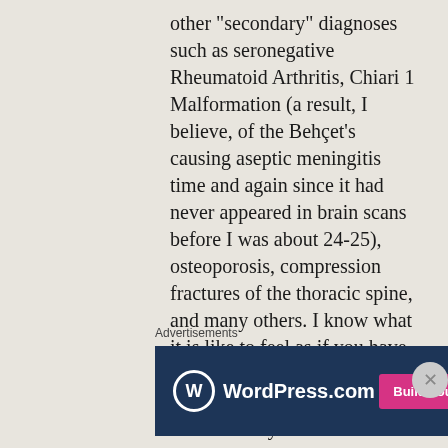other "secondary" diagnoses such as seronegative Rheumatoid Arthritis, Chiari 1 Malformation (a result, I believe, of the Behçet's causing aseptic meningitis time and again since it had never appeared in brain scans before I was about 24-25), osteoporosis, compression fractures of the thoracic spine, and many others. I know what it is like to feel as if you have lost years of your life that you can never recover from illness and the many restrictions it places upon you in your everyday life. I just want you to know that I know what it
Advertisements
[Figure (other): WordPress.com advertisement banner with dark blue background, WordPress logo on the left, and a pink 'Build Your Website' button on the right.]